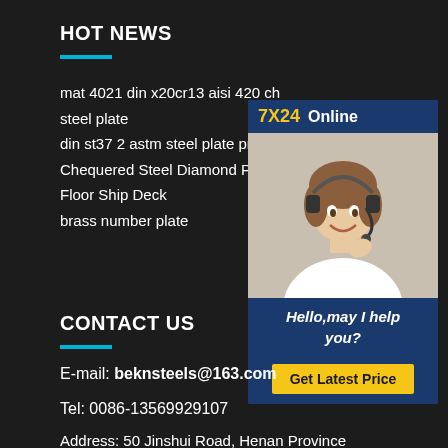HOT NEWS
mat 4021 din x20cr13 aisi 420 ch steel plate
din st37 2 astm steel plate price
Chequered Steel Diamond Plate Floor Ship Deck
brass number plate
[Figure (photo): Customer service representative with headset, with 7X24 Online badge and Hello may I help you text and Get Latest Price button]
CONTACT US
E-mail: beknsteels@163.com
Tel: 0086-13569929107
Address: 50 Jinshui Road, Henan Province China